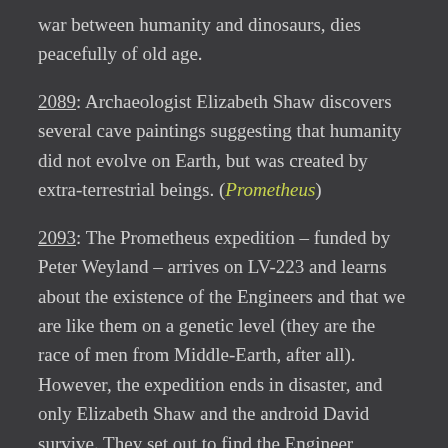war between humanity and dinosaurs, dies peacefully of old age.
2089: Archaeologist Elizabeth Shaw discovers several cave paintings suggesting that humanity did not evolve on Earth, but was created by extra-terrestrial beings. (Prometheus)
2093: The Prometheus expedition – funded by Peter Weyland – arrives on LV-223 and learns about the existence of the Engineers and that we are like them on a genetic level (they are the race of men from Middle-Earth, after all). However, the expedition ends in disaster, and only Elizabeth Shaw and the android David survive. They set out to find the Engineer homeworld. (Prometheus)